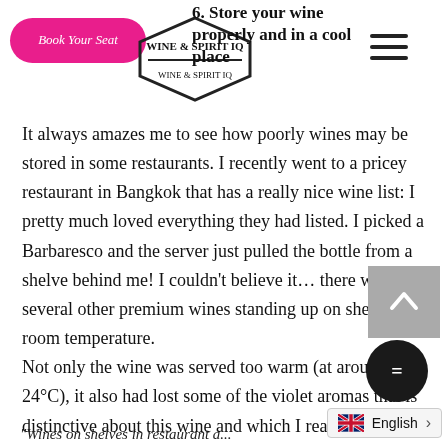Book Your Seat | Wine & Spirit IQ logo | hamburger menu
6. Store your wine properly and in a cool place
It always amazes me to see how poorly wines may be stored in some restaurants. I recently went to a pricey restaurant in Bangkok that has a really nice wine list: I pretty much loved everything they had listed. I picked a Barbaresco and the server just pulled the bottle from a shelve behind me! I couldn't believe it… there was several other premium wines standing up on shelves at room temperature.
Not only the wine was served too warm (at around 24°C), it also had lost some of the violet aromas that is distinctive about this wine and which I really love: What a disappointment!
"Wines on shelves in restaurant a...